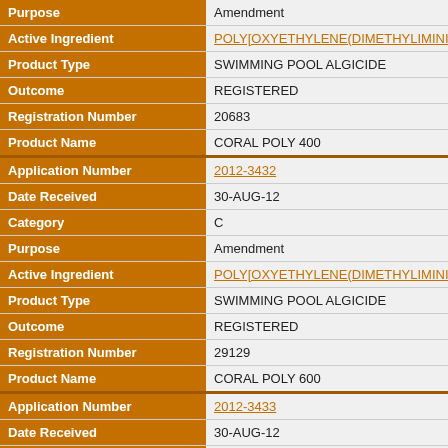| Field | Value |
| --- | --- |
| Purpose | Amendment |
| Active Ingredient | POLY[OXYETHYLENE(DIMETHYLIMINIO)ETH... |
| Product Type | SWIMMING POOL ALGICIDE |
| Outcome | REGISTERED |
| Registration Number | 20683 |
| Product Name | CORAL POLY 400 |
| Application Number | 2012-3432 |
| Date Received | 30-AUG-12 |
| Category | C |
| Purpose | Amendment |
| Active Ingredient | POLY[OXYETHYLENE(DIMETHYLIMINIO)ETH... |
| Product Type | SWIMMING POOL ALGICIDE |
| Outcome | REGISTERED |
| Registration Number | 29129 |
| Product Name | CORAL POLY 600 |
| Application Number | 2012-3433 |
| Date Received | 30-AUG-12 |
| Category | C |
| Purpose | Amendment |
| Active Ingredient | POLY[OXYETHYLENE(DIMETHYLIMINIO)ETH... |
| Product Type | SWIMMING POOL ALGICIDE |
| Outcome | REGISTERED |